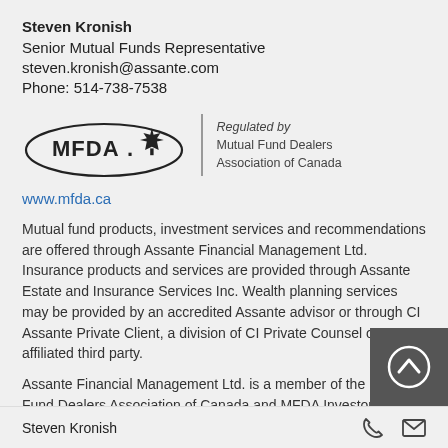Steven Kronish
Senior Mutual Funds Representative
steven.kronish@assante.com
Phone: 514-738-7538
[Figure (logo): MFDA logo with maple leaf and text 'Regulated by Mutual Fund Dealers Association of Canada']
www.mfda.ca
Mutual fund products, investment services and recommendations are offered through Assante Financial Management Ltd. Insurance products and services are provided through Assante Estate and Insurance Services Inc. Wealth planning services may be provided by an accredited Assante advisor or through CI Assante Private Client, a division of CI Private Counsel or a non-affiliated third party.
Assante Financial Management Ltd. is a member of the Mutual Fund Dealers Association of Canada and MFDA Investor Protection Corporation.
Steven Kronish